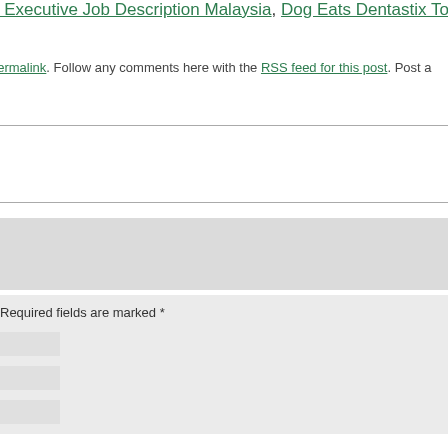g Executive Job Description Malaysia, Dog Eats Dentastix Too
permalink. Follow any comments here with the RSS feed for this post. Post a
Required fields are marked *